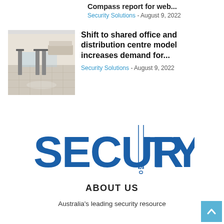Compass report for web...
Security Solutions - August 9, 2022
[Figure (photo): Interior of an office lobby with security turnstile gates, polished floor and reception desk in background]
Shift to shared office and distribution centre model increases demand for...
Security Solutions - August 9, 2022
[Figure (logo): Security Solutions logo in bold blue letters with 'SOLUTIONS' written vertically inside the letter I]
ABOUT US
Australia's leading security resource